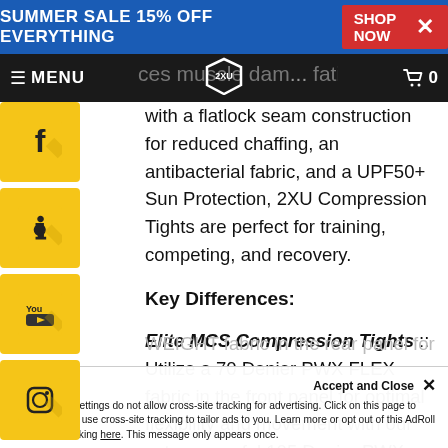SUMMER SALE 15% OFF EVERYTHING  SHOP NOW  X
MENU  0
reduces muscle damage, fatigue. Made with a flatlock seam construction for reduced chaffing, an antibacterial fabric, and a UPF50+ Sun Protection, 2XU Compression Tights are perfect for training, competing, and recovery.
Key Differences:
Elite MCS Compression Tights :: Utilize a 70 Denier PWX FLEX fabric in the front panel for optimal flexibility and movement with our extra powerful 105 Denier PWX WEIGHT fabric in the rear panel for add...
Your browser settings do not allow cross-site tracking for advertising. Click on this page to allow AdRoll to use cross-site tracking to tailor ads to you. Learn more or opt out of this AdRoll tracking by clicking here. This message only appears once.